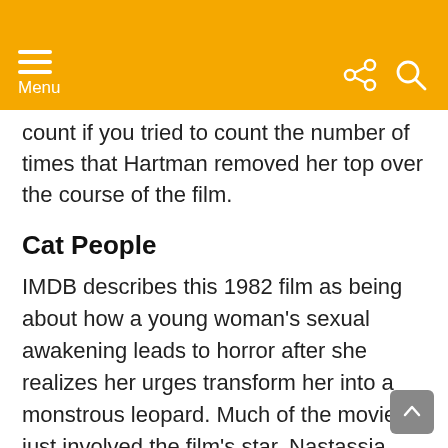Menu
…count if you tried to count the number of times that Hartman removed her top over the course of the film.
Cat People
IMDB describes this 1982 film as being about how a young woman's sexual awakening leads to horror after she realizes her urges transform her into a monstrous leopard. Much of the movie just involved the film's star, Nastassja Kinski wandering around naked in the dark.
Lifeforce